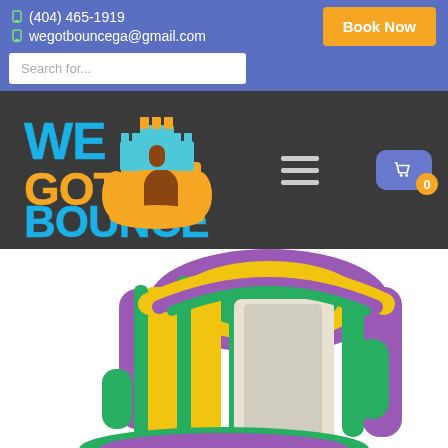(404) 465-1919 | wegotbouncega@gmail.com | Book Now
Search for...
[Figure (logo): We Got Bounce logo with inflatable castle graphic and text 'WEGOTBOUNCE.COM' on dark background]
[Figure (photo): Inflatable water slide in purple, yellow, and green colors]